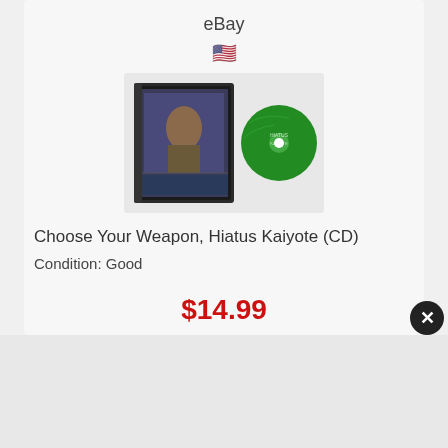eBay
[Figure (photo): Product photo showing a CD case and green disc for 'Choose Your Weapon' by Hiatus Kaiyote, displayed on a white cloth background]
Choose Your Weapon, Hiatus Kaiyote (CD)
Condition: Good
$14.99
⇒Buy It Now